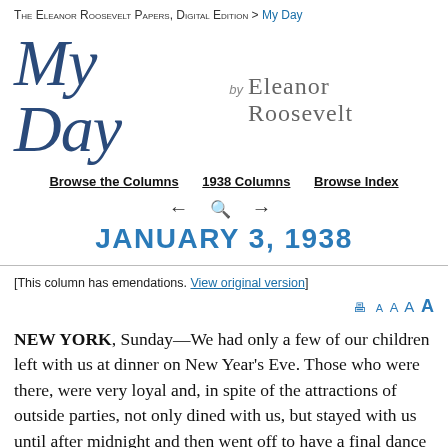The Eleanor Roosevelt Papers, Digital Edition > My Day
My Day by Eleanor Roosevelt
Browse the Columns   1938 Columns   Browse Index
JANUARY 3, 1938
[This column has emendations. View original version]
NEW YORK, Sunday—We had only a few of our children left with us at dinner on New Year's Eve. Those who were there, were very loyal and, in spite of the attractions of outside parties, not only dined with us, but stayed with us until after midnight and then went off to have a final dance to usher in